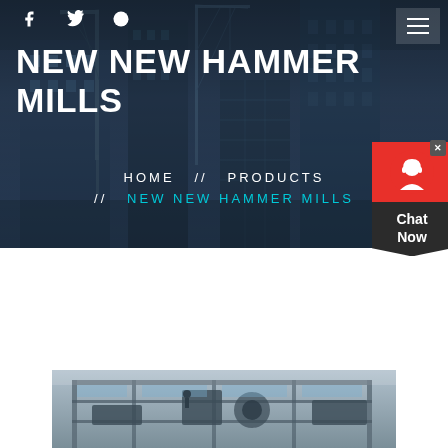[Figure (screenshot): Hero banner with dark blue overlay showing construction/building site background with cranes and skyscrapers]
NEW NEW HAMMER MILLS
HOME  //  PRODUCTS  //  NEW NEW HAMMER MILLS
[Figure (illustration): Chat Now widget with red headset icon bubble and dark banner]
Latest Projects
[Figure (photo): Industrial/construction machinery photo showing hammer mill or similar heavy equipment]